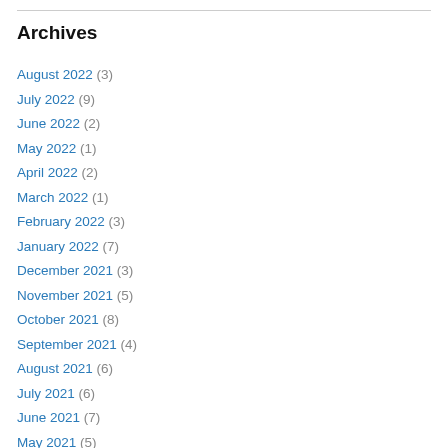Archives
August 2022 (3)
July 2022 (9)
June 2022 (2)
May 2022 (1)
April 2022 (2)
March 2022 (1)
February 2022 (3)
January 2022 (7)
December 2021 (3)
November 2021 (5)
October 2021 (8)
September 2021 (4)
August 2021 (6)
July 2021 (6)
June 2021 (7)
May 2021 (5)
April 2021 (4)